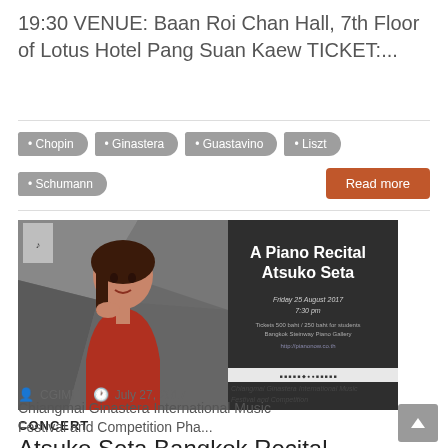19:30 VENUE: Baan Roi Chan Hall, 7th Floor of Lotus Hotel Pang Suan Kaew TICKET:...
Chopin
Ginastera
Guastavino
Liszt
Schumann
Read more
[Figure (photo): Concert poster for A Piano Recital by Atsuko Seta, showing a woman in red jacket posing with dark background, with event details: Friday 25 August 2017, 7:30 pm, Bangkok Steinway Piano Gallery. Also shows Chiangmai Ginastera International Music Festival and Competition branding.]
CONCERT
Atsuko Seta Bangkok Recital
CGIMF   July 27, 2017
Chiangmai Ginastera International Music Festival and Competition Pha...